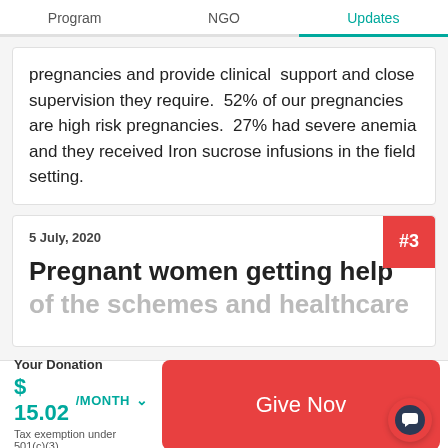Program   NGO   Updates
pregnancies and provide clinical support and close supervision they require. 52% of our pregnancies are high risk pregnancies. 27% had severe anemia and they received Iron sucrose infusions in the field setting.
5 July, 2020
Pregnant women getting help of the schemes and healthcare
Your Donation
$ 15.02/MONTH
Tax exemption under 501(c)(3)
Give Now